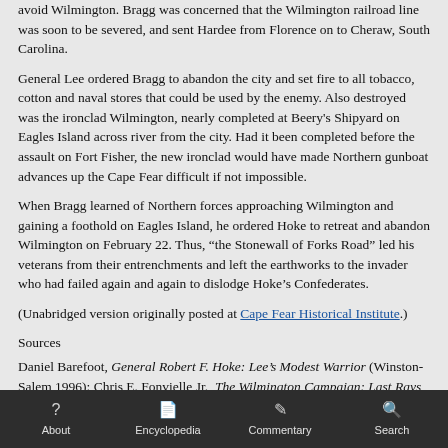avoid Wilmington. Bragg was concerned that the Wilmington railroad line was soon to be severed, and sent Hardee from Florence on to Cheraw, South Carolina.
General Lee ordered Bragg to abandon the city and set fire to all tobacco, cotton and naval stores that could be used by the enemy. Also destroyed was the ironclad Wilmington, nearly completed at Beery's Shipyard on Eagles Island across river from the city. Had it been completed before the assault on Fort Fisher, the new ironclad would have made Northern gunboat advances up the Cape Fear difficult if not impossible.
When Bragg learned of Northern forces approaching Wilmington and gaining a foothold on Eagles Island, he ordered Hoke to retreat and abandon Wilmington on February 22. Thus, “the Stonewall of Forks Road” led his veterans from their entrenchments and left the earthworks to the invader who had failed again and again to dislodge Hoke’s Confederates.
(Unabridged version originally posted at Cape Fear Historical Institute.)
Sources
Daniel Barefoot, General Robert F. Hoke: Lee’s Modest Warrior (Winston-Salem,1996); Chris E. Fonvielle Jr., The Wilmington Campaign: Last Rays of Departing Hope, (Mechanicsburg, PA, 1997); Dewey W. Grantham, Hoke Smith and the Politics of the New South, (Baton Rouge, 1958); Lewis P. Hall, Land of the Golden River (Wilmington, 1975) ; Michael C. Hardy, Remembering North Carolina’s Confederates (Charleston, 2006); Nathaniel C. Hughes, General William J. Hardee:Old Reliable, (Baton Rouge, 1965); Mark A. Moore, The Wilmington
About  Encyclopedia  Commentary  Search